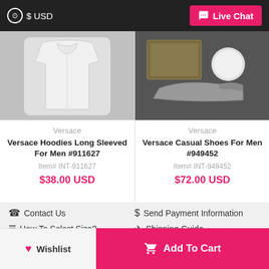$ USD   Live Chat
[Figure (photo): Versace Hoodies Long Sleeved For Men product image - white hoodie on gray background]
Versace
Versace Hoodies Long Sleeved For Men #911627
Item# INT-911627
$38.00 USD
[Figure (photo): Versace Casual Shoes For Men product image on dark background]
Versace
Versace Casual Shoes For Men #949452
Item# INT-949452
$72.00 USD
HahaBags Wholesale, Replica Versace, Replica Michael Kors, Replica Versace Shoes, Replica Zanotti versace jeans, versace clothing for men, versace shoes, versace slippers, versace shirts, versace clothing for men shoes, versace tracksuit, versace jackets, versace sandals, versace shoes for men price, versace shoes for men high tops, versace slippers for men, versace jeans men, versace clothing for men sale, versace jeans men price
Contact Us
Send Payment Information
How To Select Size?
Shipping Guide
Wishlist
Add To Cart